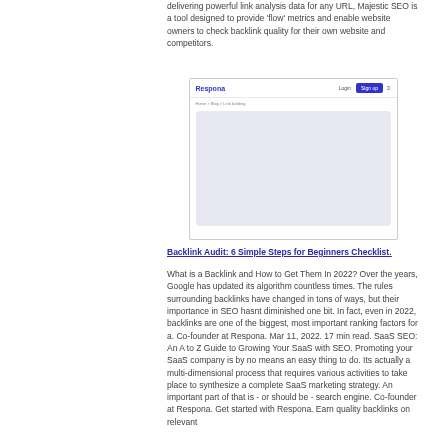delivering powerful link analysis data for any URL, Majestic SEO is a tool designed to provide 'flow' metrics and enable website owners to check backlink quality for their own website and competitors.
[Figure (screenshot): Screenshot of Respona website with logo, Login and Sign up buttons, breadcrumb navigation, and a content area with a light purple/lavender background block.]
Backlink Audit: 6 Simple Steps for Beginners Checklist.
What is a Backlink and How to Get Them In 2022? Over the years, Google has updated its algorithm countless times. The rules surrounding backlinks have changed in tons of ways, but their importance in SEO hasnt diminished one bit. In fact, even in 2022, backlinks are one of the biggest, most important ranking factors for a. Co-founder at Respona. Mar 11, 2022. 17 min read. SaaS SEO: An A to Z Guide to Growing Your SaaS with SEO. Promoting your SaaS company is by no means an easy thing to do. Its actually a multi-dimensional process that requires various activities to take place to synthesize a complete SaaS marketing strategy. An important part of that is - or should be - search engine. Co-founder at Respona. Get started with Respona. Earn quality backlinks on relevant